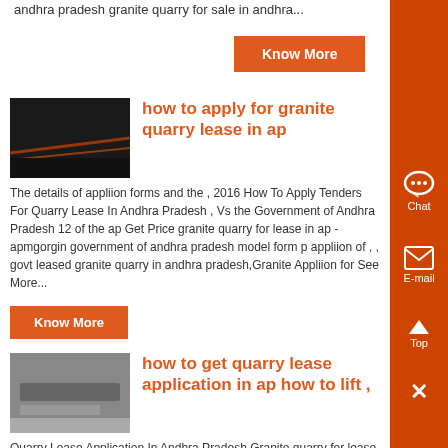andhra pradesh granite quarry for sale in andhra...
Know More
[Figure (photo): Dark photo showing road/light streaks, used as article thumbnail]
how to apply for granite quarry lease in ap
The details of appliion forms and the , 2016 How To Apply Tenders For Quarry Lease In Andhra Pradesh , Vs the Government of Andhra Pradesh 12 of the ap Get Price granite quarry for lease in ap - apmgorgin government of andhra pradesh model form p appliion of , , govt leased granite quarry in andhra pradesh,Granite Appliion for See More...
Know More
[Figure (photo): Gray/machinery photo used as article thumbnail for quarry lease application article]
how to get quarry lease application in ap how to lift ,
Quarry Lease Application In Andhra Pradesh Granite quarry for lease in andhra pradeshApplication for obtaining